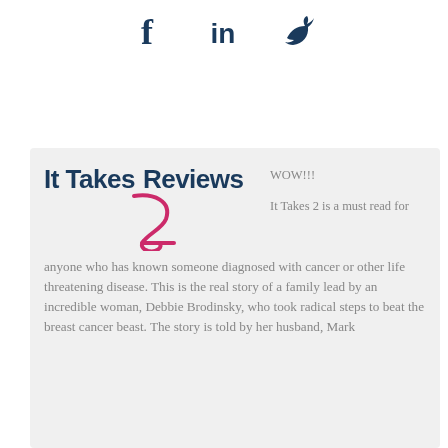[Figure (illustration): Social media icons: Facebook (f), LinkedIn (in), Twitter (bird) in dark navy color]
[Figure (logo): It Takes 2 Reviews logo with stylized pink numeral 2 between 'It Takes' and 'Reviews' in dark navy bold text on light gray background]
WOW!!! It Takes 2 is a must read for anyone who has known someone diagnosed with cancer or other life threatening disease. This is the real story of a family lead by an incredible woman, Debbie Brodinsky, who took radical steps to beat the breast cancer beast. The story is told by her husband, Mark